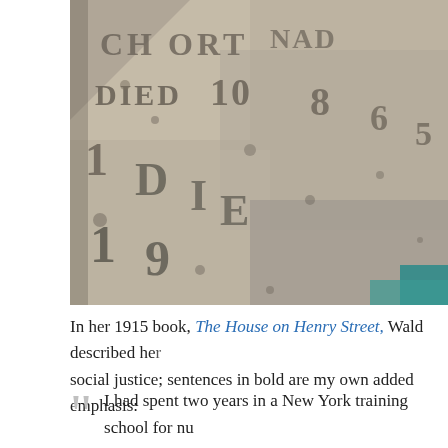[Figure (photo): Close-up photograph of a weathered gravestone with engraved text showing 'DIED 18[6?]' and '19[?]', stone surface is heavily worn and pitted, teal/blue corner visible at bottom right]
In her 1915 book, The House on Henry Street, Wald described her views on social justice; sentences in bold are my own added emphasis:
I had spent two years in a New York training school for nu... an undisciplined, untrained girl, but a wonderful human ex... more than an inspiration to be of use in some way or some... hospital [on the Lower East Side] seemed the readiest me... desire…The Lower East Side then reflected the popular i...